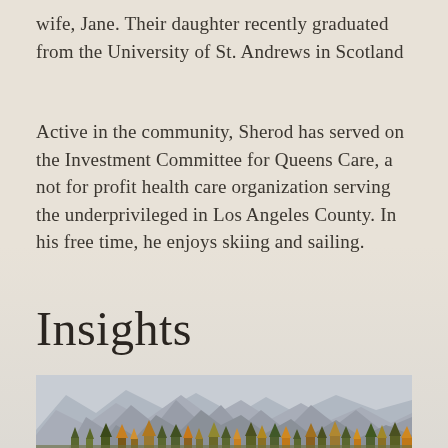wife, Jane. Their daughter recently graduated from the University of St. Andrews in Scotland
Active in the community, Sherod has served on the Investment Committee for Queens Care, a not for profit health care organization serving the underprivileged in Los Angeles County. In his free time, he enjoys skiing and sailing.
Insights
[Figure (photo): Mountain landscape with rocky peaks and autumn trees in the foreground, misty sky above]